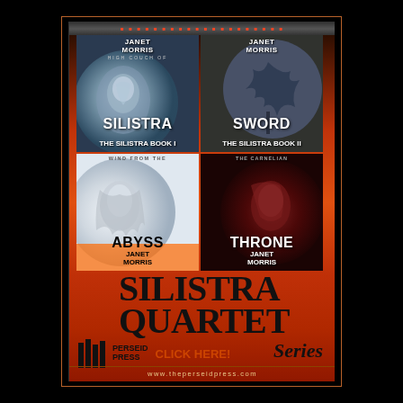[Figure (illustration): Advertisement for the Silistra Quartet Series by Janet Morris, published by Perseid Press. Shows four book covers arranged in a 2x2 grid: 'Silistra' (silver/blue), 'Sword' (dark blue), 'Abyss' (silver/white), and 'Throne' (dark red). Below the covers is the text 'SILISTRA QUARTET Series' in large bold serif font, with the Perseid Press logo, 'CLICK HERE!' in orange text, and the URL www.theperseidpress.com at the bottom. The background is a red-orange gradient.]